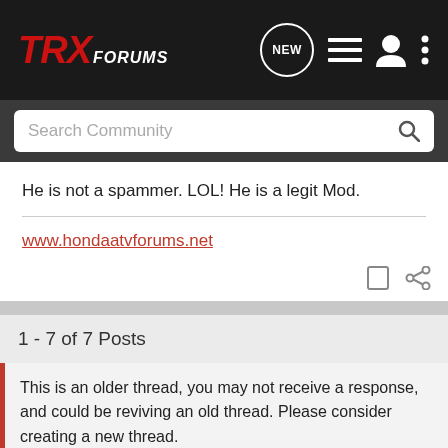[Figure (screenshot): TRX Forums top navigation bar with logo, NEW button, list icon, user icon, and kebab menu on dark background]
[Figure (screenshot): Search Community search bar on dark gray background with magnifying glass icon]
He is not a spammer. LOL! He is a legit Mod.
www.hondaatvforums.net
1 - 7 of 7 Posts
This is an older thread, you may not receive a response, and could be reviving an old thread. Please consider creating a new thread.
[Figure (other): Advertisement placeholder with dot pattern]